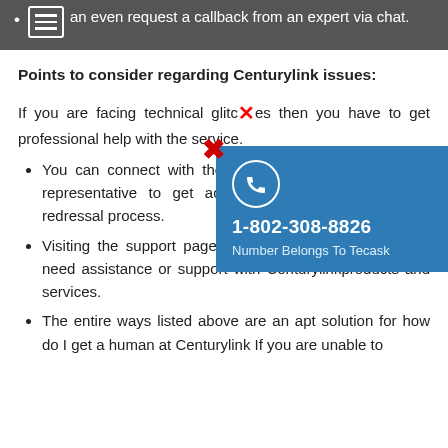You can even request a callback from an expert via chat.
Points to consider regarding Centurylink issues:
If you are facing technical glitches then you have to get professional help with the service.
[Figure (infographic): Blue popup overlay with red X close button, phone icon in circle, phone number 1-802-308-8826, and text 'Number Belongs To Tecask']
You can connect with the representative to get accustomed to the grievances redressal process.
Visiting the support page is another great option if you need assistance or support with Centurylinkproducts and services.
The entire ways listed above are an apt solution for how do I get a human at Centurylink If you are unable to